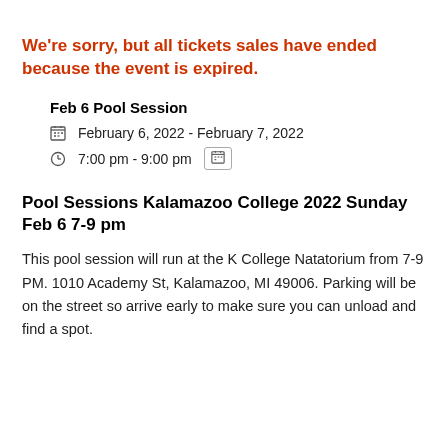We're sorry, but all tickets sales have ended because the event is expired.
Feb 6 Pool Session
February 6, 2022 - February 7, 2022
7:00 pm - 9:00 pm
Pool Sessions Kalamazoo College 2022 Sunday Feb 6 7-9 pm
This pool session will run at the K College Natatorium from 7-9 PM. 1010 Academy St, Kalamazoo, MI 49006. Parking will be on the street so arrive early to make sure you can unload and find a spot.